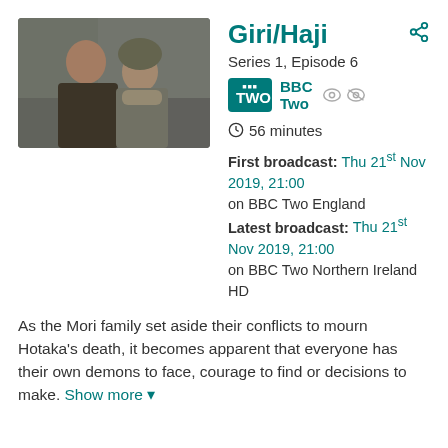[Figure (photo): Two people (a man and a woman wearing a beanie hat) standing in what appears to be an outdoor/urban setting, shown from the shoulders up.]
Giri/Haji
Series 1, Episode 6
[Figure (logo): BBC TWO logo — teal/green background with white text]
BBC Two
56 minutes
First broadcast: Thu 21st Nov 2019, 21:00 on BBC Two England Latest broadcast: Thu 21st Nov 2019, 21:00 on BBC Two Northern Ireland HD
As the Mori family set aside their conflicts to mourn Hotaka's death, it becomes apparent that everyone has their own demons to face, courage to find or decisions to make. Show more ▾